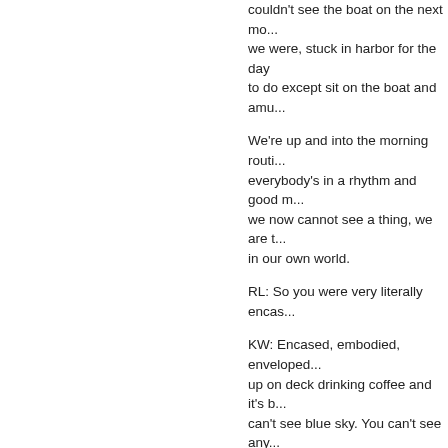couldn't see the boat on the next mo... we were, stuck in harbor for the day to do except sit on the boat and amu...
We're up and into the morning routi... everybody's in a rhythm and good m... we now cannot see a thing, we are t... in our own world.
RL: So you were very literally encas...
KW: Encased, embodied, enveloped... up on deck drinking coffee and it's b... can't see blue sky. You can't see any... wall of fog.
So we sat and bounced on the moo... day. We started telling stories - troub... into, relationships we'd had, travels ... adventures, whatever. We're now te... you would normally not get to in a tw... conversation at dinner.
And you're on this boat and you're ju... laughing and everything has its own... of us are at a point where we're so o... each other that we can laugh at eac... foot or make fun of our own toes. W... aged, so it's not like we're profiling – definitely are not profiling. We're jus... … just being really who we are ….